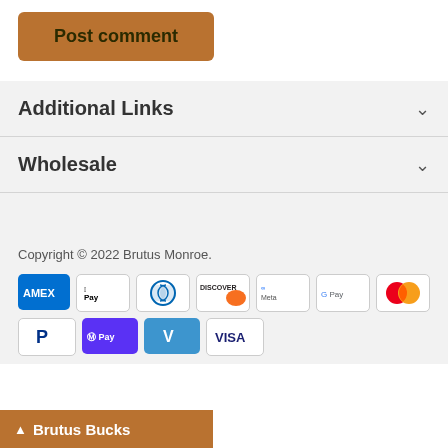[Figure (other): Post comment button — brown/amber rounded rectangle with bold dark green text 'Post comment']
Additional Links
Wholesale
Copyright © 2022 Brutus Monroe.
[Figure (other): Payment method icons: AMEX, Apple Pay, Diners Club, Discover, Meta Pay, Google Pay, Mastercard, PayPal, Shop Pay, Venmo, Visa]
[Figure (other): Brutus Bucks sticky bar at bottom with upward chevron]